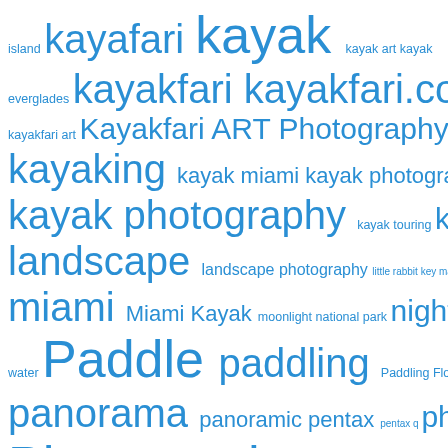[Figure (other): Tag cloud with various kayak, photography, and nature-related terms displayed in different font sizes in blue, indicating tag frequency on a blog or website.]